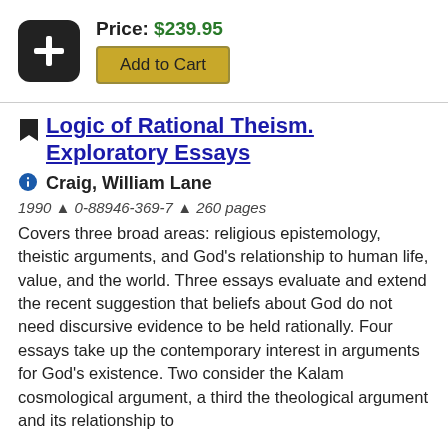Price: $239.95
Add to Cart
Logic of Rational Theism. Exploratory Essays
Craig, William Lane
1990 ▲ 0-88946-369-7 ▲ 260 pages
Covers three broad areas: religious epistemology, theistic arguments, and God's relationship to human life, value, and the world. Three essays evaluate and extend the recent suggestion that beliefs about God do not need discursive evidence to be held rationally. Four essays take up the contemporary interest in arguments for God's existence. Two consider the Kalam cosmological argument, a third the theological argument and its relationship to